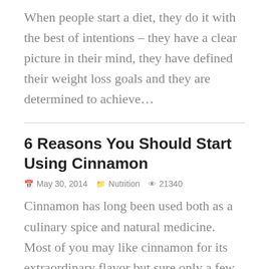When people start a diet, they do it with the best of intentions – they have a clear picture in their mind, they have defined their weight loss goals and they are determined to achieve…
6 Reasons You Should Start Using Cinnamon
May 30, 2014   Nutrition   21340
Cinnamon has long been used both as a culinary spice and natural medicine. Most of you may like cinnamon for its extraordinary flavor but sure only a few know all